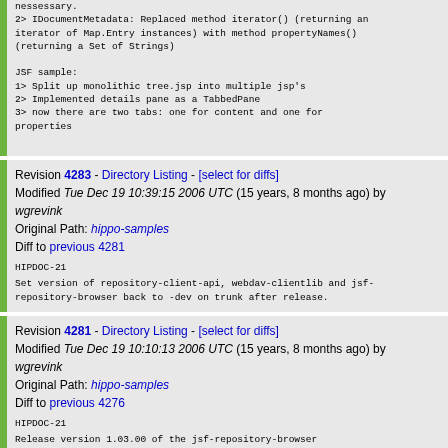nessessary.
2> IDocumentMetadata: Replaced method iterator() (returning an iterator of Map.Entry instances) with method propertyNames() (returning a Set of Strings)

JSF sample:
1> Split up monolithic tree.jsp into multiple jsp's
2> Implemented details pane as a TabbedPane
3> now there are two tabs: one for content and one for properties
Revision 4283 - Directory Listing - [select for diffs]
Modified Tue Dec 19 10:39:15 2006 UTC (15 years, 8 months ago) by wgrevink
Original Path: hippo-samples
Diff to previous 4281
HIPDOC-21
Set version of repository-client-api, webdav-clientlib and jsf-repository-browser back to -dev on trunk after release.
Revision 4281 - Directory Listing - [select for diffs]
Modified Tue Dec 19 10:10:13 2006 UTC (15 years, 8 months ago) by wgrevink
Original Path: hippo-samples
Diff to previous 4276
HIPDOC-21
Release version 1.03.00 of the jsf-repository-browser